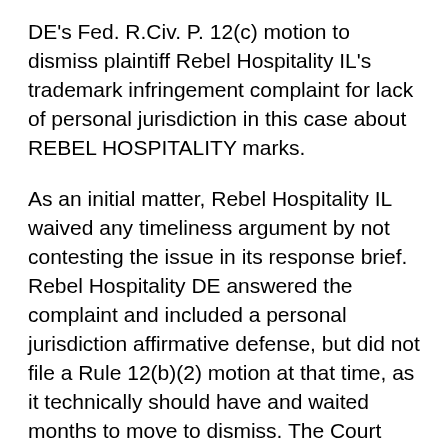DE's Fed. R.Civ. P. 12(c) motion to dismiss plaintiff Rebel Hospitality IL's trademark infringement complaint for lack of personal jurisdiction in this case about REBEL HOSPITALITY marks.
As an initial matter, Rebel Hospitality IL waived any timeliness argument by not contesting the issue in its response brief. Rebel Hospitality DE answered the complaint and included a personal jurisdiction affirmative defense, but did not file a Rule 12(b)(2) motion at that time, as it technically should have and waited months to move to dismiss. The Court noted that, even if Rebel Hospitality IL had argued that Rebel Hospitality DE waived its jurisdictional argument, the Court would have decided the motion because it would promote form over substance to refuse to consider a jurisdictional argument in a Rule 12(c) motion filed after an answer that included personal jurisdiction as an